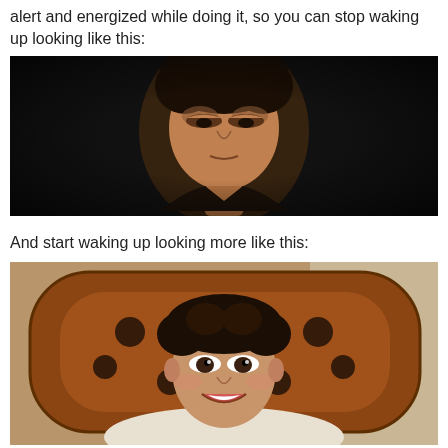alert and energized while doing it, so you can stop waking up looking like this:
[Figure (photo): Movie still of a tired-looking young man with curly dark hair, dark background, looking downward with heavy eyes — resembling Frodo from Lord of the Rings]
And start waking up looking more like this:
[Figure (photo): Movie still of a happy young man with curly dark hair sitting in a wooden bed, smiling broadly, wearing white shirt — resembling Frodo waking up refreshed in Lord of the Rings]